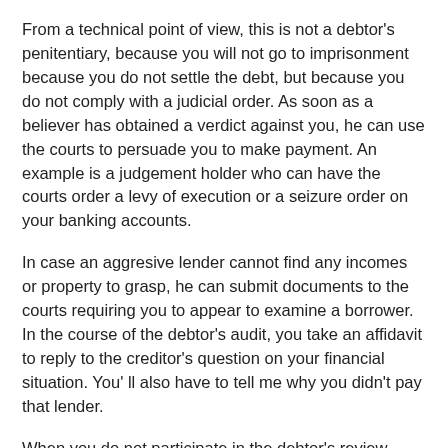From a technical point of view, this is not a debtor's penitentiary, because you will not go to imprisonment because you do not settle the debt, but because you do not comply with a judicial order. As soon as a believer has obtained a verdict against you, he can use the courts to persuade you to make payment. An example is a judgement holder who can have the courts order a levy of execution or a seizure order on your banking accounts.
In case an aggresive lender cannot find any incomes or property to grasp, he can submit documents to the courts requiring you to appear to examine a borrower. In the course of the debtor's audit, you take an affidavit to reply to the creditor's question on your financial situation. You' ll also have to tell me why you didn't pay that lender.
When you do not participate in the debtor's review, either because you did not get notification or just did not want to appear, the judge may find you in civilian disdain for not obeying his appearance. If you do not make payment, obey the instructions of the courts or take other measures to rectify what has occurred, you may be sentenced to prison.